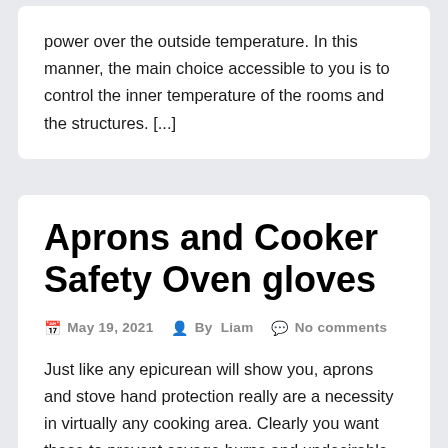power over the outside temperature. In this manner, the main choice accessible to you is to control the inner temperature of the rooms and the structures. [...]
Aprons and Cooker Safety Oven gloves
May 19, 2021   By Liam   No comments
Just like any epicurean will show you, aprons and stove hand protection really are a necessity in virtually any cooking area. Clearly you want these to prevent savage burns and undesirable staining, but